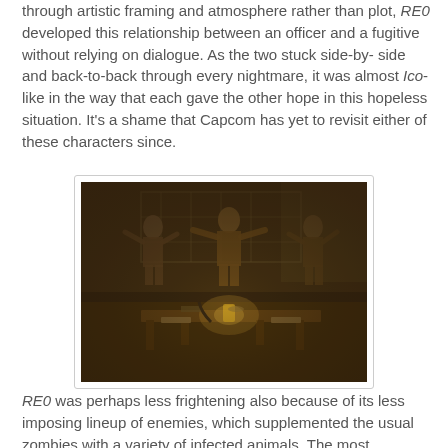through artistic framing and atmosphere rather than plot, RE0 developed this relationship between an officer and a fugitive without relying on dialogue. As the two stuck side-by-side and back-to-back through every nightmare, it was almost Ico-like in the way that each gave the other hope in this hopeless situation. It's a shame that Capcom has yet to revisit either of these characters since.
[Figure (photo): Dark sepia-toned screenshot from a video game showing a dimly lit room with a wooden table and chairs in the foreground, lantern light, and three zombie-like creatures standing in the background near metal fencing and stone walls.]
RE0 was perhaps less frightening also because of its less imposing lineup of enemies, which supplemented the usual zombies with a variety of infected animals. The most...